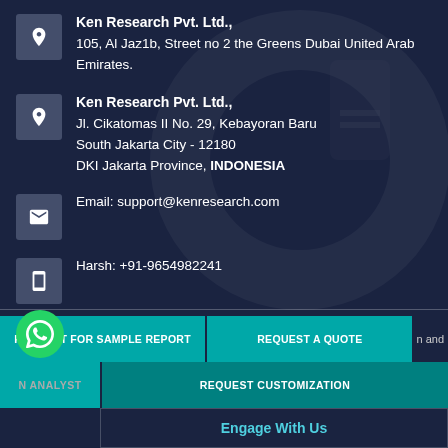Ken Research Pvt. Ltd., 105, Al Jaz1b, Street no 2 the Greens Dubai United Arab Emirates.
Ken Research Pvt. Ltd., Jl. Cikatomas II No. 29, Kebayoran Baru South Jakarta City - 12180 DKI Jakarta Province, INDONESIA
Email: support@kenresearch.com
Harsh: +91-9654982241
Customized Research
Wish to engage with us on the Bespoke Research! We aid clients in pre-product launch intelligence, investment plant setup cost-benefit analysis, Geography expansion strategy, valuation and business model due- diligence and integration.
REQUEST FOR SAMPLE REPORT
REQUEST A QUOTE
AN ANALYST
REQUEST CUSTOMIZATION
Engage With Us